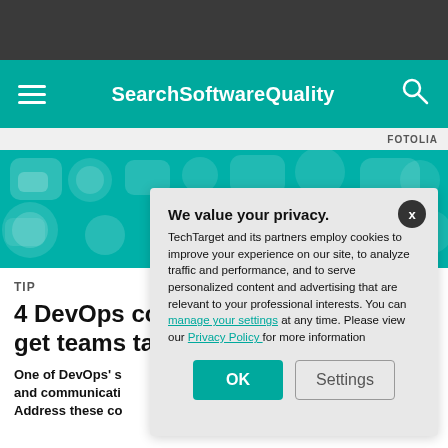SearchSoftwareQuality
FOTOLIA
[Figure (illustration): Teal background with speech bubble icons arranged decoratively]
TIP
4 DevOps co... get teams ta...
One of DevOps' s... and communicati... Address these co...
We value your privacy. TechTarget and its partners employ cookies to improve your experience on our site, to analyze traffic and performance, and to serve personalized content and advertising that are relevant to your professional interests. You can manage your settings at any time. Please view our Privacy Policy for more information